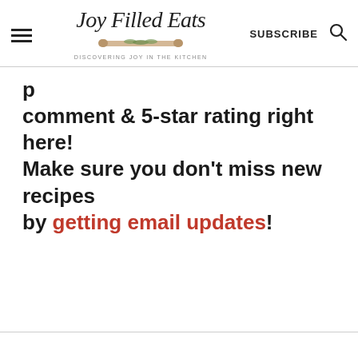Joy Filled Eats — DISCOVERING JOY IN THE KITCHEN | SUBSCRIBE
comment & 5-star rating right here! Make sure you don't miss new recipes by getting email updates!